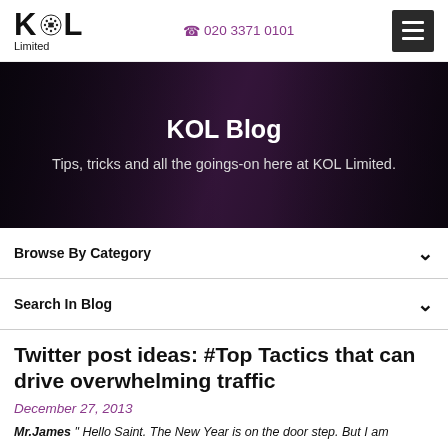KOL Limited | 020 3371 0101
[Figure (illustration): KOL Limited logo with stylized dot pattern in the O]
KOL Blog
Tips, tricks and all the goings-on here at KOL Limited.
Browse By Category
Search In Blog
Twitter post ideas: #Top Tactics that can drive overwhelming traffic
December 27, 2013
Mr.James " Hello Saint. The New Year is on the door step. But I am